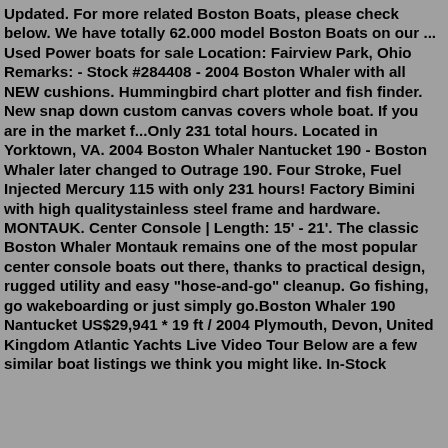Updated. For more related Boston Boats, please check below. We have totally 62.000 model Boston Boats on our ... Used Power boats for sale Location: Fairview Park, Ohio Remarks: - Stock #284408 - 2004 Boston Whaler with all NEW cushions. Hummingbird chart plotter and fish finder. New snap down custom canvas covers whole boat. If you are in the market f...Only 231 total hours. Located in Yorktown, VA. 2004 Boston Whaler Nantucket 190 - Boston Whaler later changed to Outrage 190. Four Stroke, Fuel Injected Mercury 115 with only 231 hours! Factory Bimini with high qualitystainless steel frame and hardware. MONTAUK. Center Console | Length: 15' - 21'. The classic Boston Whaler Montauk remains one of the most popular center console boats out there, thanks to practical design, rugged utility and easy "hose-and-go" cleanup. Go fishing, go wakeboarding or just simply go.Boston Whaler 190 Nantucket US$29,941 * 19 ft / 2004 Plymouth, Devon, United Kingdom Atlantic Yachts Live Video Tour Below are a few similar boat listings we think you might like. In-Stock